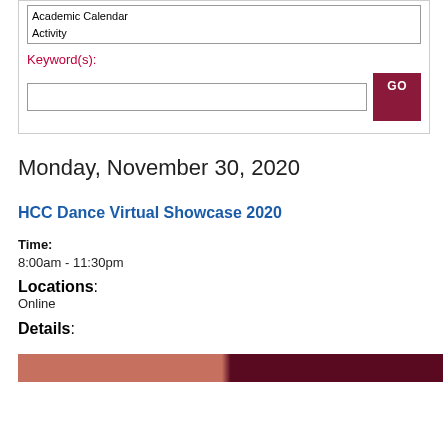Academic Calendar
Activity
Keyword(s):
Monday, November 30, 2020
HCC Dance Virtual Showcase 2020
Time:
8:00am - 11:30pm
Locations:
Online
Details:
[Figure (photo): Partial photo strip showing a dance performance image, cropped at bottom of page]